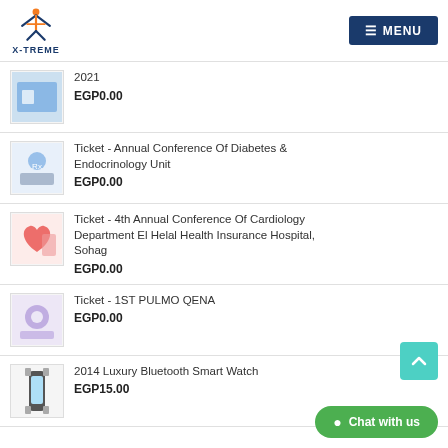X-TREME | MENU
2021
EGP0.00
Ticket - Annual Conference Of Diabetes & Endocrinology Unit
EGP0.00
Ticket - 4th Annual Conference Of Cardiology Department El Helal Health Insurance Hospital, Sohag
EGP0.00
Ticket - 1ST PULMO QENA
EGP0.00
2014 Luxury Bluetooth Smart Watch
EGP15.00